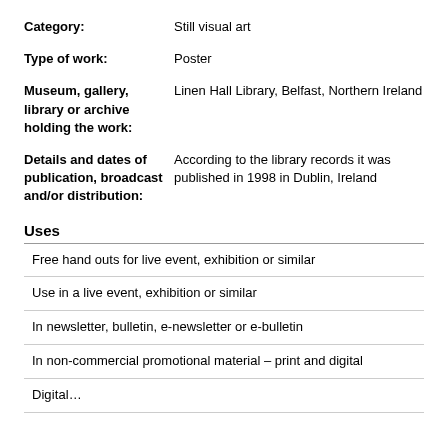Category: Still visual art
Type of work: Poster
Museum, gallery, library or archive holding the work: Linen Hall Library, Belfast, Northern Ireland
Details and dates of publication, broadcast and/or distribution: According to the library records it was published in 1998 in Dublin, Ireland
Uses
Free hand outs for live event, exhibition or similar
Use in a live event, exhibition or similar
In newsletter, bulletin, e-newsletter or e-bulletin
In non-commercial promotional material – print and digital
Digital…